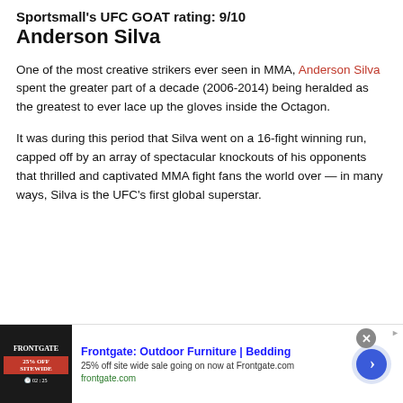Sportsmall's UFC GOAT rating: 9/10
Anderson Silva
One of the most creative strikers ever seen in MMA, Anderson Silva spent the greater part of a decade (2006-2014) being heralded as the greatest to ever lace up the gloves inside the Octagon.
It was during this period that Silva went on a 16-fight winning run, capped off by an array of spectacular knockouts of his opponents that thrilled and captivated MMA fight fans the world over — in many ways, Silva is the UFC's first global superstar.
[Figure (other): Advertisement banner for Frontgate: Outdoor Furniture | Bedding — 25% off site wide sale going on now at Frontgate.com — frontgate.com]